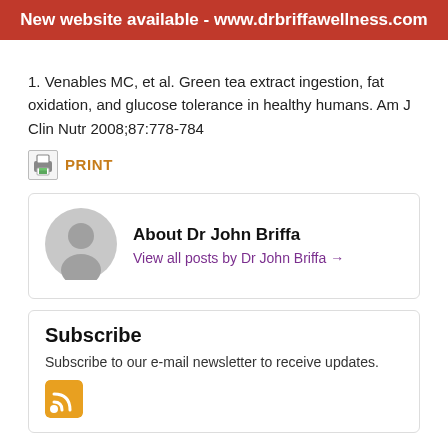New website available - www.drbriffawellness.com
1. Venables MC, et al. Green tea extract ingestion, fat oxidation, and glucose tolerance in healthy humans. Am J Clin Nutr 2008;87:778-784
[Figure (other): Print icon with orange PRINT label]
About Dr John Briffa
View all posts by Dr John Briffa →
Subscribe
Subscribe to our e-mail newsletter to receive updates.
[Figure (other): RSS feed icon, orange]